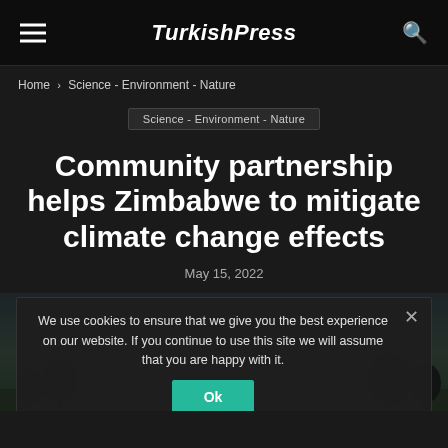TurkishPress
Home › Science - Environment - Nature
Science - Environment - Nature
Community partnership helps Zimbabwe to mitigate climate change effects
May 15, 2022
[Figure (photo): Landscape photo with dark sky and tree silhouettes, partially obscured by cookie consent banner]
We use cookies to ensure that we give you the best experience on our website. If you continue to use this site we will assume that you are happy with it.